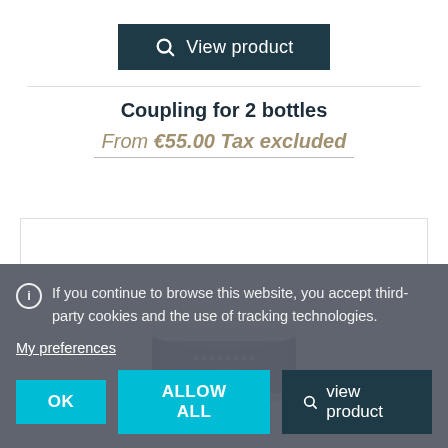[Figure (other): Dark teal 'View product' button with magnifying glass icon]
Coupling for 2 bottles
From €55.00 Tax excluded
[Figure (photo): Product photo of a jar with white lid and dark blue/navy label, partially obscured by cookie banner]
If you continue to browse this website, you accept third-party cookies and the use of tracking technologies.
My preferences
OK
ALLOW ALL
View product